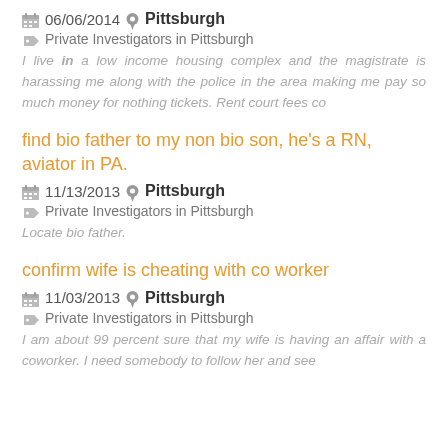06/06/2014 Pittsburgh
Private Investigators in Pittsburgh
I live in a low income housing complex and the magistrate is harassing me along with the police in the area making me pay so much money for nothing tickets. Rent court fees co
find bio father to my non bio son, he's a RN, aviator in PA.
11/13/2013 Pittsburgh
Private Investigators in Pittsburgh
Locate bio father.
confirm wife is cheating with co worker
11/03/2013 Pittsburgh
Private Investigators in Pittsburgh
I am about 99 percent sure that my wife is having an affair with a coworker. I need somebody to follow her and see